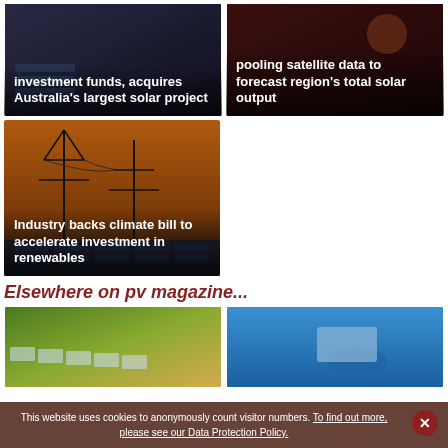[Figure (photo): Solar panels / investment funds article thumbnail - dark toned image]
investment funds, acquires Australia's largest solar project
[Figure (photo): People working with satellite data / solar forecast article thumbnail - dark red toned image]
pooling satellite data to forecast region's total solar output
[Figure (photo): Electricity pylons at sunset / climate bill article thumbnail]
Industry backs climate bill to accelerate investment in renewables
Elsewhere on pv magazine...
[Figure (photo): Solar panels in green field - elsewhere article thumbnail]
[Figure (photo): Hand holding solar panel against blue sky - elsewhere article thumbnail]
This website uses cookies to anonymously count visitor numbers. To find out more, please see our Data Protection Policy.